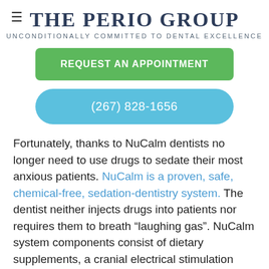[Figure (logo): The Perio Group logo with text 'THE PERIO GROUP' and tagline 'UNCONDITIONALLY COMMITTED TO DENTAL EXCELLENCE']
THE PERIO GROUP
UNCONDITIONALLY COMMITTED TO DENTAL EXCELLENCE
REQUEST AN APPOINTMENT
(267) 828-1656
Fortunately, thanks to NuCalm dentists no longer need to use drugs to sedate their most anxious patients. NuCalm is a proven, safe, chemical-free, sedation-dentistry system. The dentist neither injects drugs into patients nor requires them to breath “laughing gas”. NuCalm system components consist of dietary supplements, a cranial electrical stimulation (CES) device, calming music with neuroacoustic